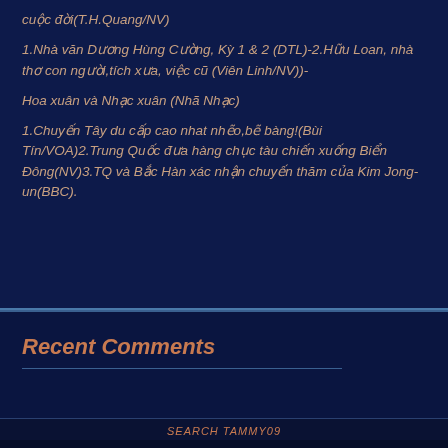cuộc đời(T.H.Quang/NV)
1.Nhà văn Dương Hùng Cường, Kỳ 1 & 2 (DTL)-2.Hữu Loan, nhà thơ con người,tích xưa, việc cũ (Viên Linh/NV))-
Hoa xuân và Nhạc xuân (Nhã Nhạc)
1.Chuyến Tây du cấp cao nhat nhẽo,bẽ bàng!(Bùi Tín/VOA)2.Trung Quốc đưa hàng chục tàu chiến xuống Biển Đông(NV)3.TQ và Bắc Hàn xác nhận chuyến thăm của Kim Jong-un(BBC).
Recent Comments
SEARCH TAMMY09